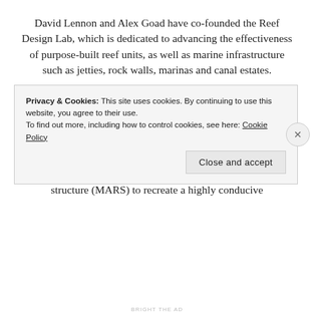David Lennon and Alex Goad have co-founded the Reef Design Lab, which is dedicated to advancing the effectiveness of purpose-built reef units, as well as marine infrastructure such as jetties, rock walls, marinas and canal estates.
Advertisements
[Figure (other): Longreads advertisement banner with red background. Logo with circle L and text LONGREADS. Tagline: The best stories on the web – ours, and everyone else's.]
Lennon and Goad have designed the modular artificial reef structure (MARS) to recreate a highly conducive
Privacy & Cookies: This site uses cookies. By continuing to use this website, you agree to their use.
To find out more, including how to control cookies, see here: Cookie Policy
Close and accept